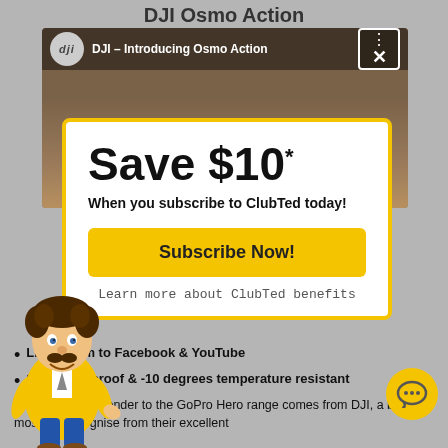DJI Osmo Action
[Figure (screenshot): DJI video thumbnail showing Osmo Action camera on sandy surface with DJI channel label and close button overlay]
[Figure (infographic): Popup modal with yellow border showing Save $10* when you subscribe to ClubTed today, Subscribe Now button, and Learn more about ClubTed benefits link. Cartoon mascot man in yellow jacket on left side.]
Livestream to Facebook & YouTube
11M Waterproof & -10 degrees temperature resistant
The leading contender to the GoPro Hero range comes from DJI, a brand most will recognise from their excellent